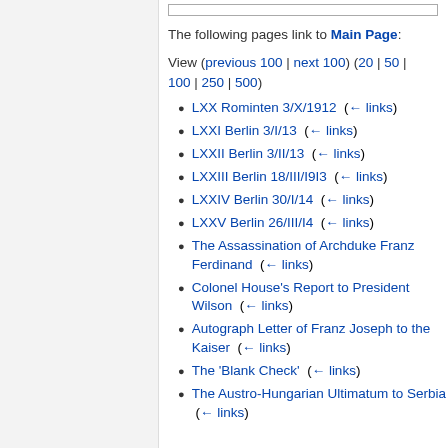The following pages link to Main Page:
View (previous 100 | next 100) (20 | 50 | 100 | 250 | 500)
LXX Rominten 3/X/1912  (← links)
LXXI Berlin 3/I/13  (← links)
LXXII Berlin 3/II/13  (← links)
LXXIII Berlin 18/III/I9I3  (← links)
LXXIV Berlin 30/I/14  (← links)
LXXV Berlin 26/III/I4  (← links)
The Assassination of Archduke Franz Ferdinand  (← links)
Colonel House's Report to President Wilson  (← links)
Autograph Letter of Franz Joseph to the Kaiser  (← links)
The 'Blank Check'  (← links)
The Austro-Hungarian Ultimatum to Serbia  (← links)